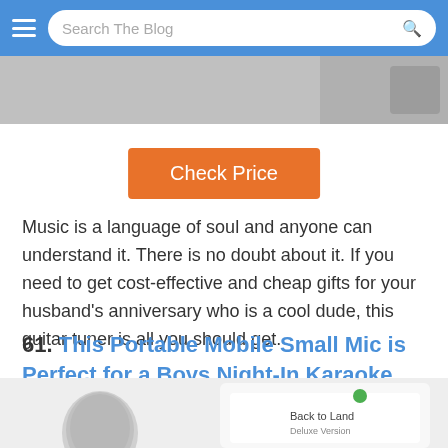Search The Blog
[Figure (photo): Partial photo visible at top of page, cropped]
Check Price
Music is a language of soul and anyone can understand it. There is no doubt about it. If you need to get cost-effective and cheap gifts for your husband's anniversary who is a cool dude, this guitar tuner is all you should get.
61. This Portable Mobile Small Mic is Perfect for a Boys Night-In Karaoke And Gifts For Guys Who Have Everything
[Figure (photo): Partial photo of a microphone and phone screen at bottom of page]